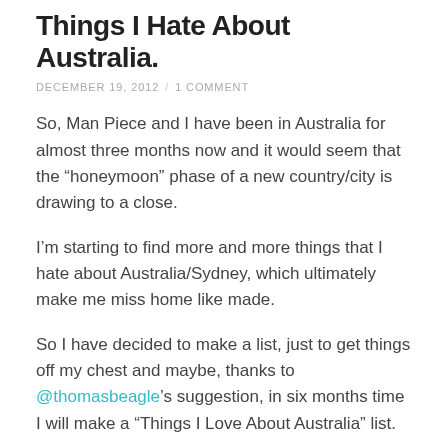Things I Hate About Australia.
DECEMBER 19, 2012  /  1 COMMENT
So, Man Piece and I have been in Australia for almost three months now and it would seem that the “honeymoon” phase of a new country/city is drawing to a close.
I’m starting to find more and more things that I hate about Australia/Sydney, which ultimately make me miss home like made.
So I have decided to make a list, just to get things off my chest and maybe, thanks to @thomasbeagle’s suggestion, in six months time I will make a “Things I Love About Australia” list.